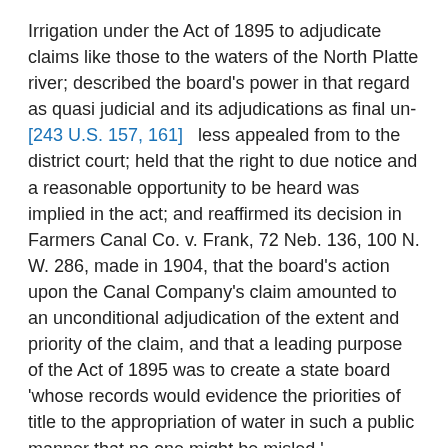Irrigation under the Act of 1895 to adjudicate claims like those to the waters of the North Platte river; described the board's power in that regard as quasi judicial and its adjudications as final un- [243 U.S. 157, 161]   less appealed from to the district court; held that the right to due notice and a reasonable opportunity to be heard was implied in the act; and reaffirmed its decision in Farmers Canal Co. v. Frank, 72 Neb. 136, 100 N. W. 286, made in 1904, that the board's action upon the Canal Company's claim amounted to an unconditional adjudication of the extent and priority of the claim, and that a leading purpose of the Act of 1895 was to create a state board 'whose records would evidence the priorities of title to the appropriation of water in such a public manner that no one might be misled.'
As respects the notice actually given to the other parties, the opportunity which they had for opposing or contesting the Canal Company's claim before the board, and the knowledge